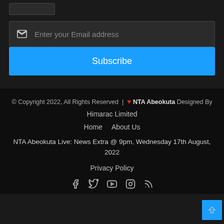[Figure (other): Small rectangular button stub at top left]
Enter your Email address
Subscribe
© Copyright 2022, All Rights Reserved | ❤ NTA Abeokuta Designed By Himarac Limited
Home
About Us
NTA Abeokuta Live: News Extra @ 9pm, Wednesday 17th August, 2022
Privacy Policy
[Figure (other): Social media icons: Facebook, Twitter, YouTube, Instagram, RSS]